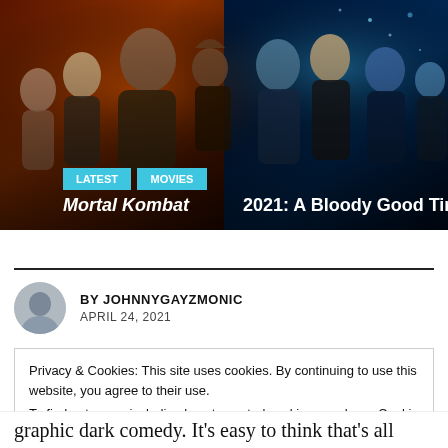[Figure (photo): Movie promotional image for Mortal Kombat 2021 showing multiple characters against dark red/blue backgrounds]
Mortal Kombat 2021: A Bloody Good Time
BY JOHNNYGAYZMONIC
APRIL 24, 2021
Privacy & Cookies: This site uses cookies. By continuing to use this website, you agree to their use.
To find out more, including how to control cookies, see here: Cookie Policy
Close and accept
graphic dark comedy. It's easy to think that's all